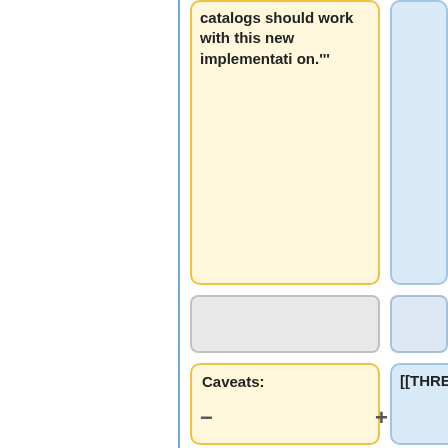catalogs should work with this new implementation.'''
Caveats:
[[THREDDS_using_XSLT|More details about the handlers, their configuration options, and other information can be found here.]]